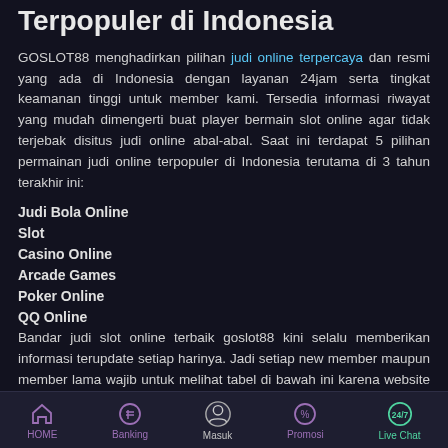Terpopuler di Indonesia
GOSLOT88 menghadirkan pilihan judi online terpercaya dan resmi yang ada di Indonesia dengan layanan 24jam serta tingkat keamanan tinggi untuk member kami. Tersedia informasi riwayat yang mudah dimengerti buat player bermain slot online agar tidak terjebak disitus judi online abal-abal. Saat ini terdapat 5 pilihan permainan judi online terpopuler di Indonesia terutama di 3 tahun terakhir ini:
Judi Bola Online
Slot
Casino Online
Arcade Games
Poker Online
QQ Online
Bandar judi slot online terbaik goslot88 kini selalu memberikan informasi terupdate setiap harinya. Jadi setiap new member maupun member lama wajib untuk melihat tabel di bawah ini karena website kami memiliki berita terupdate yang dapat kalian ketahui lebih detail game iu... slot online gacor yang wajib
HOME   Banking   Masuk   Promosi   Live Chat